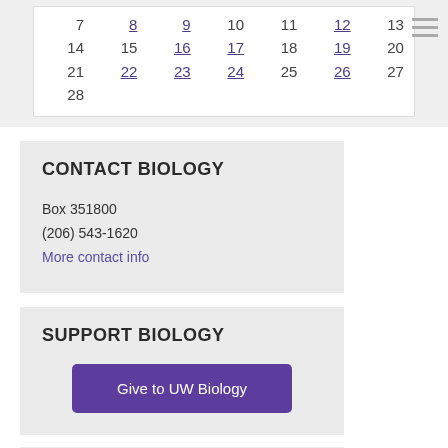| 7 | 8 | 9 | 10 | 11 | 12 | 13 |
| 14 | 15 | 16 | 17 | 18 | 19 | 20 |
| 21 | 22 | 23 | 24 | 25 | 26 | 27 |
| 28 |  |  |  |  |  |  |
CONTACT BIOLOGY
Box 351800
(206) 543-1620
More contact info
SUPPORT BIOLOGY
Give to UW Biology
STAY CONNECTED